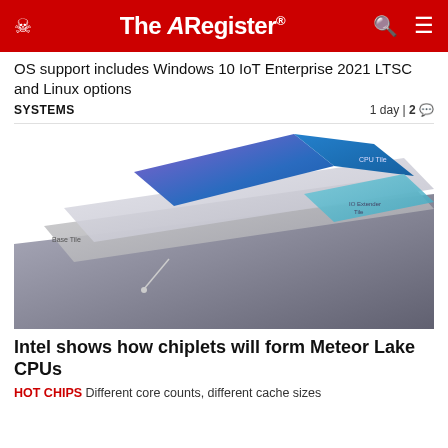The Register
OS support includes Windows 10 IoT Enterprise 2021 LTSC and Linux options
SYSTEMS   1 day | 2 comments
[Figure (illustration): Exploded diagram of Intel Meteor Lake chiplet architecture showing Base Tile, CPU Tile, and IO Extender Tile layers in blue and grey tones]
Intel shows how chiplets will form Meteor Lake CPUs
HOT CHIPS Different core counts, different cache sizes